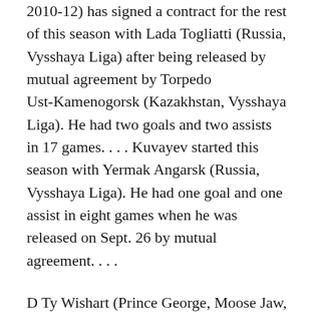2010-12) has signed a contract for the rest of this season with Lada Togliatti (Russia, Vysshaya Liga) after being released by mutual agreement by Torpedo Ust-Kamenogorsk (Kazakhstan, Vysshaya Liga). He had two goals and two assists in 17 games. . . . Kuvayev started this season with Yermak Angarsk (Russia, Vysshaya Liga). He had one goal and one assist in eight games when he was released on Sept. 26 by mutual agreement. . . .
D Ty Wishart (Prince George, Moose Jaw, 2004-08) has signed a contract for the rest of this season with Fehérvár AV19 Székesfehérvár (Hungary, Erste Bank Liga). This season, with Pardubice (Czech Republic, Extraliga), he had four goals and thee assists in 27 games. He was